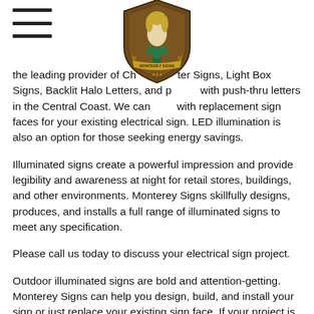≡ (hamburger menu icon)
[Figure (logo): Monterey Signs logo: a shield-shaped emblem with a mermaid figure on a wood-grain background]
the leading provider of Channel Letters, Light Box Signs, Backlit Halo Letters, and panels with push-thru letters in the Central Coast. We can help with replacement sign faces for your existing electrical sign. LED illumination is also an option for those seeking energy savings.
Illuminated signs create a powerful impression and provide legibility and awareness at night for retail stores, buildings, and other environments. Monterey Signs skillfully designs, produces, and installs a full range of illuminated signs to meet any specification.
Please call us today to discuss your electrical sign project.
Outdoor illuminated signs are bold and attention-getting. Monterey Signs can help you design, build, and install your sign or just replace your existing sign face. If your project is interior, we are ready to help you with backlit menu boards and directories, or dynamic digital signage (DDS).